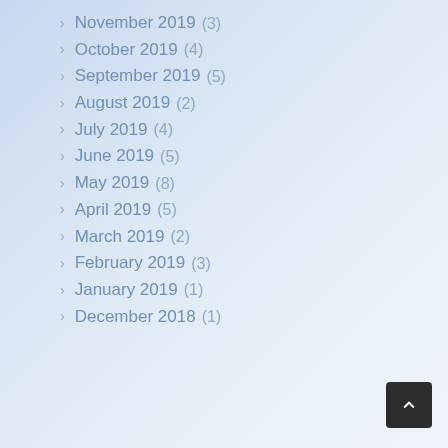November 2019 (3)
October 2019 (4)
September 2019 (5)
August 2019 (2)
July 2019 (4)
June 2019 (5)
May 2019 (8)
April 2019 (5)
March 2019 (2)
February 2019 (3)
January 2019 (1)
December 2018 (1)